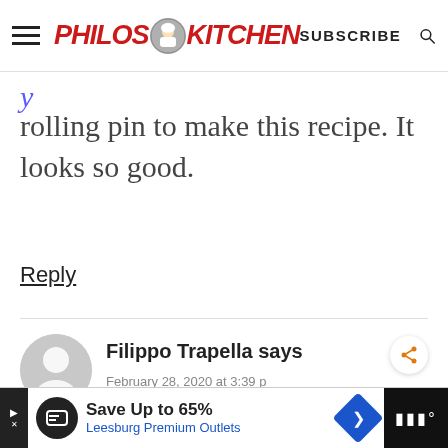Philos Kitchen — SUBSCRIBE (navigation bar)
rolling pin to make this recipe. It looks so good.
Reply
Filippo Trapella says
February 28, 2020 at 3:39 p
WHAT'S NEXT → HOMEMADE SUN-DRIED...
Save Up to 65% Leesburg Premium Outlets